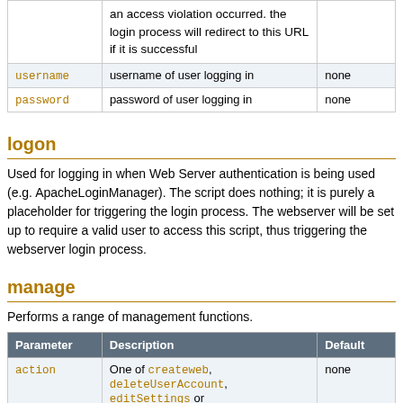| Parameter | Description | Default |
| --- | --- | --- |
|  | an access violation occurred. the login process will redirect to this URL if it is successful |  |
| username | username of user logging in | none |
| password | password of user logging in | none |
logon
Used for logging in when Web Server authentication is being used (e.g. ApacheLoginManager). The script does nothing; it is purely a placeholder for triggering the login process. The webserver will be set up to require a valid user to access this script, thus triggering the webserver login process.
manage
Performs a range of management functions.
| Parameter | Description | Default |
| --- | --- | --- |
| action | One of createweb, deleteUserAccount, editSettings or saveSettings. | none |